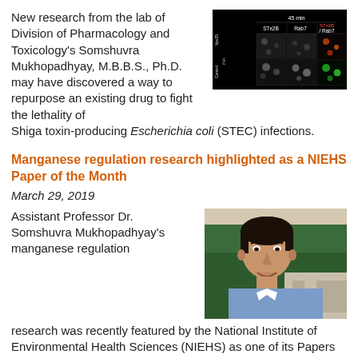New research from the lab of Division of Pharmacology and Toxicology's Somshuvra Mukhopadhyay, M.B.B.S., Ph.D. may have discovered a way to repurpose an existing drug to fight the lethality of Shiga toxin-producing Escherichia coli (STEC) infections.
[Figure (photo): Fluorescence microscopy images showing STx2B and Rab7 staining at 45 min time point, with control and Vps35 rows]
Manganese regulation research highlighted as a NIEHS Paper of the Month
March 29, 2019
Assistant Professor Dr. Somshuvra Mukhopadhyay's manganese regulation research was recently featured by the National Institute of Environmental Health Sciences (NIEHS) as one of its Papers of the Month. The findings may be useful for the treatment for parkinsonism caused by manganese poisoning.
[Figure (photo): Portrait photo of Dr. Somshuvra Mukhopadhyay, a man with dark hair wearing a blue checkered shirt, outdoors with greenery in background]